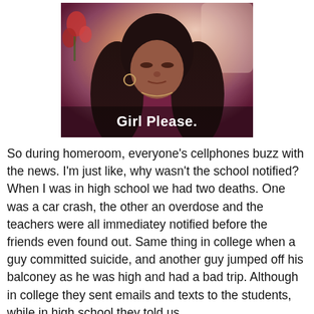[Figure (photo): Photo of a woman with long dark hair wearing a dark purple/maroon top, with text overlay reading 'Girl Please.' at the bottom of the image.]
So during homeroom, everyone's cellphones buzz with the news. I'm just like, why wasn't the school notified? When I was in high school we had two deaths. One was a car crash, the other an overdose and the teachers were all immediatey notified before the friends even found out. Same thing in college when a guy committed suicide, and another guy jumped off his balconey as he was high and had a bad trip. Although in college they sent emails and texts to the students, while in high school they told us